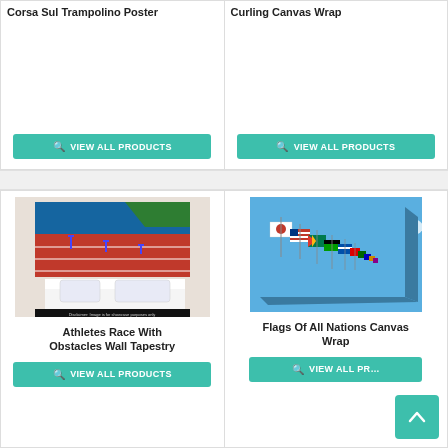Corsa Sul Trampolino Poster
Curling Canvas Wrap
VIEW ALL PRODUCTS
VIEW ALL PRODUCTS
[Figure (photo): Athletes Race With Obstacles Wall Tapestry - track and hurdles scene on a bedroom wall]
Athletes Race With Obstacles Wall Tapestry
VIEW ALL PRODUCTS
[Figure (photo): Flags Of All Nations Canvas Wrap - row of international flags against blue sky]
Flags Of All Nations Canvas Wrap
VIEW ALL PR